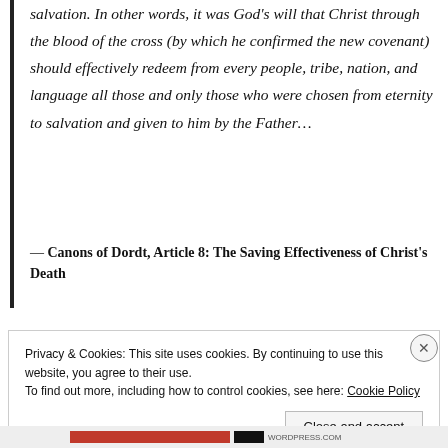salvation. In other words, it was God's will that Christ through the blood of the cross (by which he confirmed the new covenant) should effectively redeem from every people, tribe, nation, and language all those and only those who were chosen from eternity to salvation and given to him by the Father…
— Canons of Dordt, Article 8: The Saving Effectiveness of Christ's Death
Privacy & Cookies: This site uses cookies. By continuing to use this website, you agree to their use.
To find out more, including how to control cookies, see here: Cookie Policy